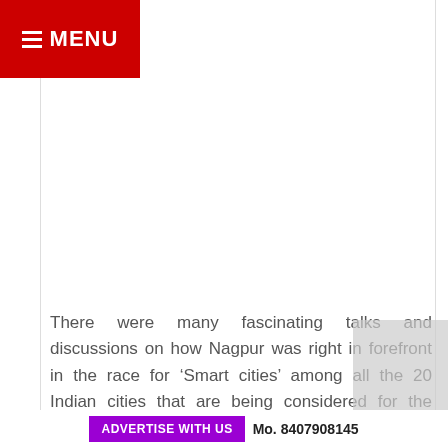MENU
There were many fascinating talks and discussions on how Nagpur was right in forefront in the race for ‘Smart cities’ among all the 20 Indian cities that are being considered for the honour.
Karuna Gopal, Founder President of the Foundation for Futuristic cities chaired the session that deliberated on
ADVERTISE WITH US   Mo. 8407908145